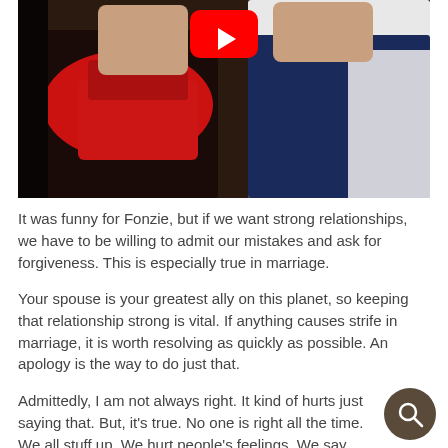[Figure (photo): A YouTube video thumbnail showing two men: one wearing a dark jacket with a red scarf, and another wearing a navy blue vest over a white shirt. A red YouTube play button is visible in the upper center of the image.]
It was funny for Fonzie, but if we want strong relationships, we have to be willing to admit our mistakes and ask for forgiveness. This is especially true in marriage.
Your spouse is your greatest ally on this planet, so keeping that relationship strong is vital. If anything causes strife in marriage, it is worth resolving as quickly as possible. An apology is the way to do just that.
Admittedly, I am not always right. It kind of hurts just saying that. But, it's true. No one is right all the time. We all stuff up. We hurt people's feelings. We say things w